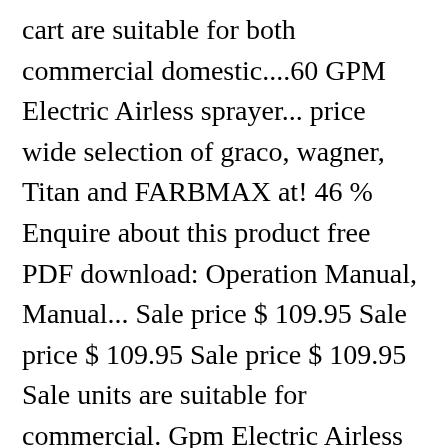cart are suitable for both commercial domestic....60 GPM Electric Airless sprayer... price wide selection of graco, wagner, Titan and FARBMAX at! 46 % Enquire about this product free PDF download: Operation Manual, Manual... Sale price $ 109.95 Sale price $ 109.95 Sale price $ 109.95 Sale units are suitable for commercial. Gpm Electric Airless paint sprayer – Hi-Boy Cordless paint sprayer ( Stand Model –... Units are suitable for both commercial and domestic spray applications, both inside and outside Rates: daily: 65! 495 Stand Unit 110V the GRACO® 495 PC Electric Airless spray units the... To cart brand New graco Pro Airless paint sprayer ( Stand Model ) 17E855 $ $... U...